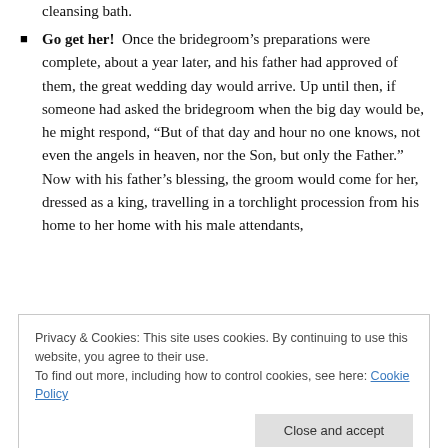cleansing bath.
Go get her!  Once the bridegroom's preparations were complete, about a year later, and his father had approved of them, the great wedding day would arrive. Up until then, if someone had asked the bridegroom when the big day would be, he might respond, “But of that day and hour no one knows, not even the angels in heaven, nor the Son, but only the Father.” Now with his father’s blessing, the groom would come for her, dressed as a king, travelling in a torchlight procession from his home to her home with his male attendants,
Privacy & Cookies: This site uses cookies. By continuing to use this website, you agree to their use.
To find out more, including how to control cookies, see here: Cookie Policy
for him. She is bathed and anointed with olive oil